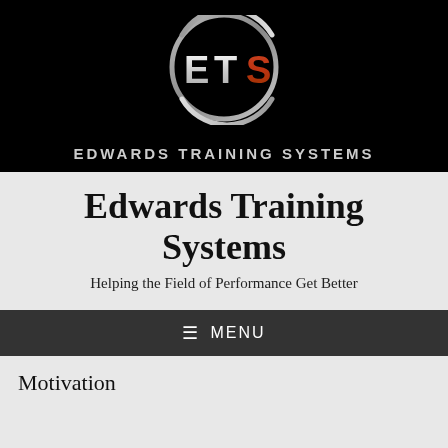[Figure (logo): Edwards Training Systems logo on black background: circular chrome swoosh design with ETS letters (E and T in white/silver, S in red/orange), with text EDWARDS TRAINING SYSTEMS below in silver bold caps]
Edwards Training Systems
Helping the Field of Performance Get Better
≡ MENU
Motivation